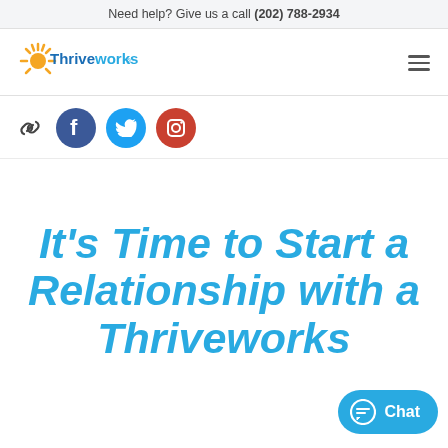Need help? Give us a call (202) 788-2934
[Figure (logo): Thriveworks logo with yellow sun rays and blue text]
[Figure (other): Social media icons: link/chain icon, Facebook (blue circle f), Twitter (blue circle bird), Instagram (red circle camera)]
It’s Time to Start a Relationship with a Thriveworks
[Figure (other): Blue chat button with speech bubble icon and text ‘Chat’]